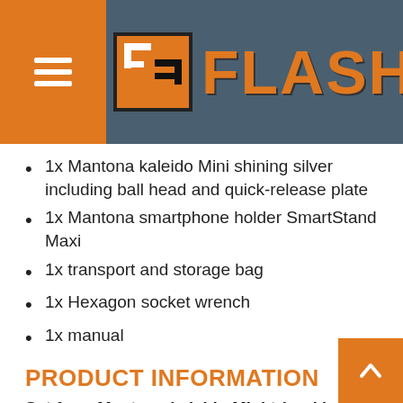[Figure (logo): Flash store header with hamburger menu icon on orange background, Flash logo with orange F block icon and orange FLASH text on dark blue-grey background, shopping cart icon with badge showing 0]
1x Mantona kaleido Mini shining silver including ball head and quick-release plate
1x Mantona smartphone holder SmartStand Maxi
1x transport and storage bag
1x Hexagon socket wrench
1x manual
PRODUCT INFORMATION
Set from Mantona kaleido Mini tripod in shining silver plus Mantona Smartphone holder SmartStand MAXI
kaleido - design meets function
Mini, Midi, Maxi and everything in between - with the kaleido